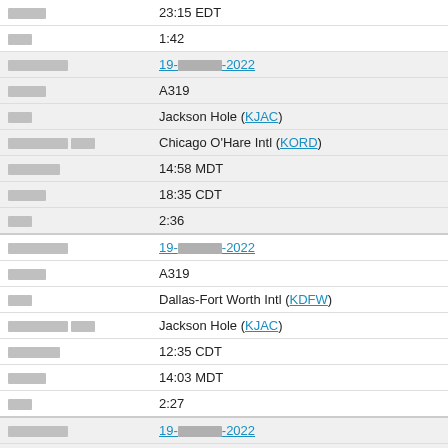| label | value |
| --- | --- |
| [redacted] | 23:15 EDT |
| [redacted] | 1:42 |
| [redacted] | 19-[redacted]-2022 |
| [redacted] | A319 |
| [redacted] | Jackson Hole (KJAC) |
| [redacted] | Chicago O'Hare Intl (KORD) |
| [redacted] | 14:58 MDT |
| [redacted] | 18:35 CDT |
| [redacted] | 2:36 |
| [redacted] | 19-[redacted]-2022 |
| [redacted] | A319 |
| [redacted] | Dallas-Fort Worth Intl (KDFW) |
| [redacted] | Jackson Hole (KJAC) |
| [redacted] | 12:35 CDT |
| [redacted] | 14:03 MDT |
| [redacted] | 2:27 |
| [redacted] | 19-[redacted]-2022 |
| [redacted] | A319 |
| [redacted] | Eagle County (KEGE) |
| [redacted] | Dallas-Fort Worth Intl (KDFW) |
| [redacted] | 09:51 MDT |